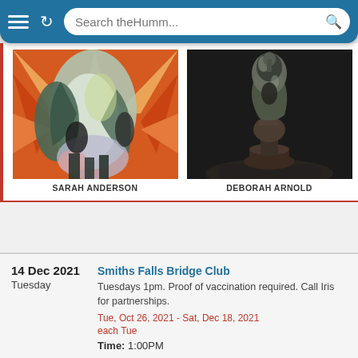Search theHumm...
[Figure (photo): Painting by Sarah Anderson – abstract figurative painting with swirling green, grey and white forms against an orange/red radiating background]
SARAH ANDERSON
[Figure (photo): Bronze sculpture by Deborah Arnold – tall abstract dark bronze figure with rounded top on a pedestal against black background]
DEBORAH ARNOLD
14 Dec 2021
Tuesday
Smiths Falls Bridge Club
Tuesdays 1pm. Proof of vaccination required. Call Iris for partnerships.
Tue, Oct 26, 2021 - Sat, Dec 18, 2021
each Tue
Time: 1:00PM